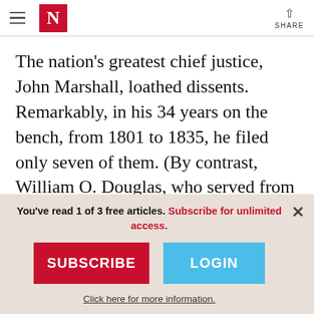The Nation — N logo — SHARE
The nation's greatest chief justice, John Marshall, loathed dissents. Remarkably, in his 34 years on the bench, from 1801 to 1835, he filed only seven of them. (By contrast, William O. Douglas, who served from 1939 to 1975, wrote 486.) Marshall aggressively sought to ensure that the Court spoke as one body, modifying his opinions at the request of
You've read 1 of 3 free articles. Subscribe for unlimited access.
SUBSCRIBE
LOGIN
Click here for more information.